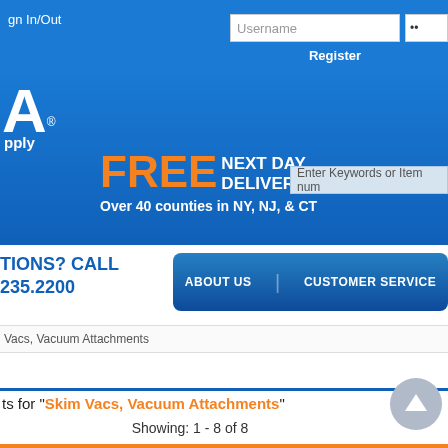Sign In/Out
Username
••
Register
[Figure (logo): Website logo with letter A and text supply]
FREE NEXT DAY DELIVERY Over 40 counties in NY, NJ, & CT
Enter Keywords or Item num
TIONS? CALL 235.2200
ABOUT US   CUSTOMER SERVICE
Vacs, Vacuum Attachments
ts for "Skim Vacs, Vacuum Attachments"
Showing: 1 - 8 of 8